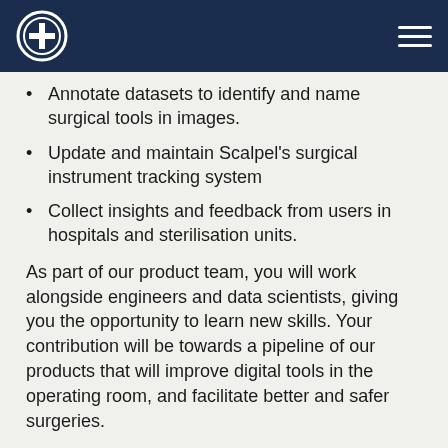Scalpel logo and navigation header
Annotate datasets to identify and name surgical tools in images.
Update and maintain Scalpel's surgical instrument tracking system
Collect insights and feedback from users in hospitals and sterilisation units.
As part of our product team, you will work alongside engineers and data scientists, giving you the opportunity to learn new skills. Your contribution will be towards a pipeline of our products that will improve digital tools in the operating room, and facilitate better and safer surgeries.
Ideal candidate